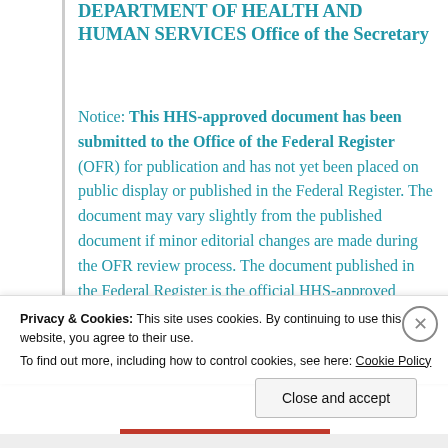DEPARTMENT OF HEALTH AND HUMAN SERVICES Office of the Secretary
Notice: This HHS-approved document has been submitted to the Office of the Federal Register (OFR) for publication and has not yet been placed on public display or published in the Federal Register. The document may vary slightly from the published document if minor editorial changes are made during the OFR review process. The document published in the Federal Register is the official HHS-approved document.
Privacy & Cookies: This site uses cookies. By continuing to use this website, you agree to their use.
To find out more, including how to control cookies, see here: Cookie Policy